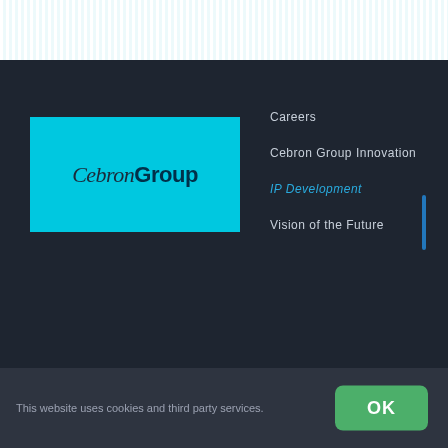[Figure (screenshot): Dark teal banner with matrix-like vertical lines at top of page]
[Figure (logo): Cebron Group logo on cyan/light blue background. 'Cebron' in dark italic serif, 'Group' in dark bold sans-serif]
Careers
Cebron Group Innovation
IP Development
Vision of the Future
Team
Privacy Policy
Contact Us
Terms & Conditions
This website uses cookies and third party services.